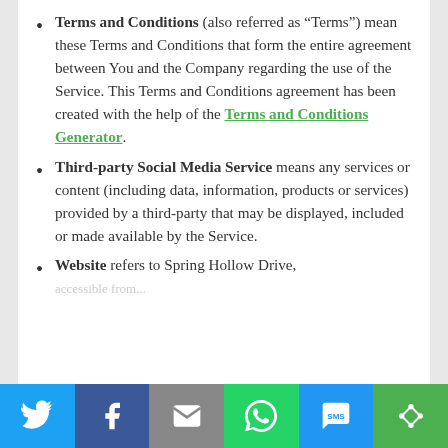Terms and Conditions (also referred as "Terms") mean these Terms and Conditions that form the entire agreement between You and the Company regarding the use of the Service. This Terms and Conditions agreement has been created with the help of the Terms and Conditions Generator.
Third-party Social Media Service means any services or content (including data, information, products or services) provided by a third-party that may be displayed, included or made available by the Service.
Website refers to Spring Hollow Drive, accessible from...